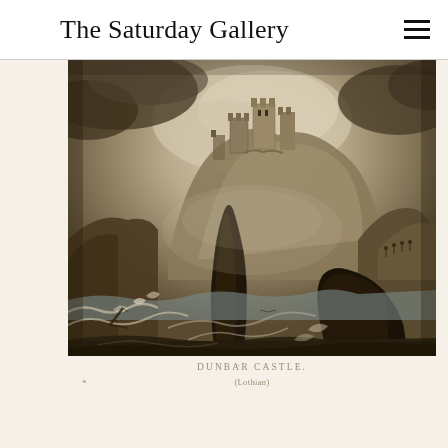The Saturday Gallery
[Figure (illustration): Victorian steel engraving of Dunbar Castle, Lothian. A dramatic coastal scene showing a ruined castle atop rocky cliffs, with turbulent seas, crashing waves, and dark foreground rocks. Monochrome sepia-toned engraving.]
DUNBAR CASTLE. (Lothian)